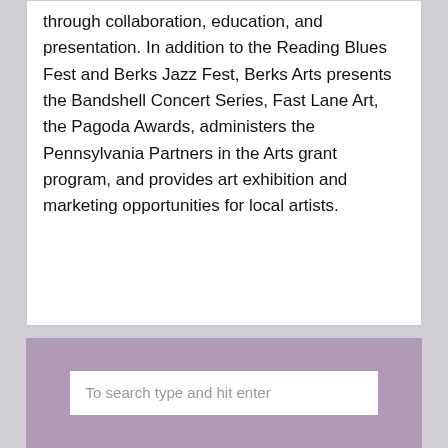through collaboration, education, and presentation. In addition to the Reading Blues Fest and Berks Jazz Fest, Berks Arts presents the Bandshell Concert Series, Fast Lane Art, the Pagoda Awards, administers the Pennsylvania Partners in the Arts grant program, and provides art exhibition and marketing opportunities for local artists.
To search type and hit enter